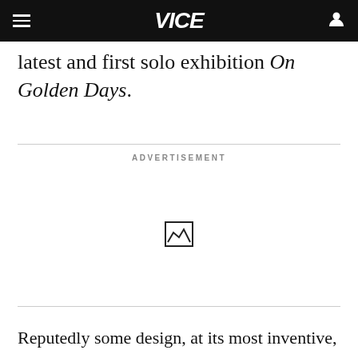VICE
latest and first solo exhibition On Golden Days.
ADVERTISEMENT
[Figure (other): Advertisement placeholder image icon]
Reputedly some design, at its most inventive,